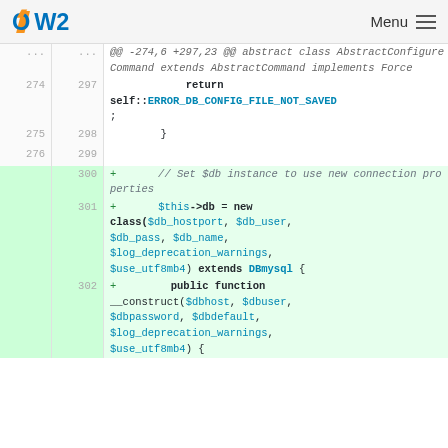OW2  Menu
[Figure (screenshot): Code diff view showing PHP lines 274-302. Lines 274-276/297-299 show normal context with 'return self::ERROR_DB_CONFIG_FILE_NOT_SAVED;' and closing brace. Lines 300-302 are added (green) showing new code: a comment '// Set $db instance to use new connection properties', then '$this->db = new class($db_hostport, $db_user, $db_pass, $db_name, $log_deprecation_warnings, $use_utf8mb4) extends DBmysql {', then 'public function __construct($dbhost, $dbuser, $dbpassword, $dbdefault, $log_deprecation_warnings, $use_utf8mb4) {']